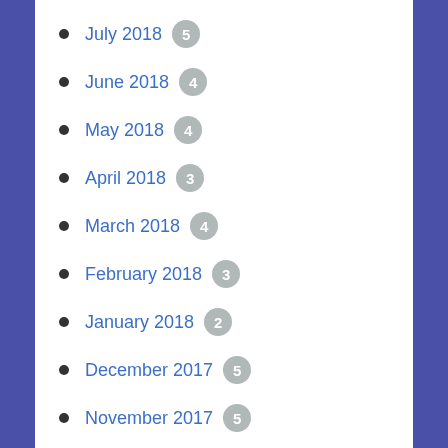July 2018 5
June 2018 4
May 2018 4
April 2018 3
March 2018 4
February 2018 3
January 2018 2
December 2017 5
November 2017 5
October 2017 4
September 2017 5